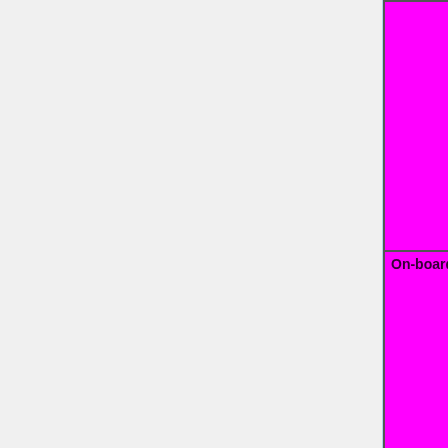| Feature | Status |
| --- | --- |
|  | TODO=red | No=red | WIP=orange | Untested=yellow | N/A=lightgray yellow }}" | N/A |
| On-board FireWire | OK=lime | TODO=red | No=red | WIP=orange | Untested=yellow | N/A=lightgray yellow }}" | N/A |
| On-board Smartcard reader | OK=lime | TODO=red | No=red | WIP=orange | Untested=yellow | N/A=lightgray yellow }}" | N/A |
| On-board CompactFlash | OK=lime | TODO=red | No=red | WIP=... |